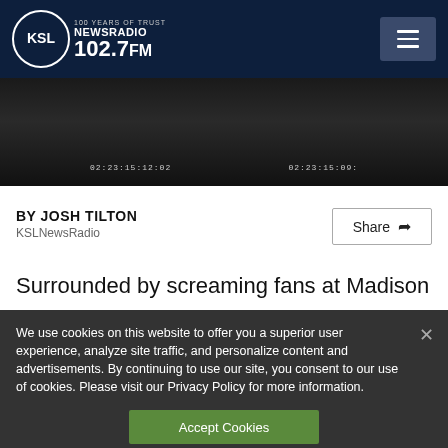KSL NewsRadio 102.7FM — 100 Years of Trust
[Figure (screenshot): Dark video thumbnail with two timecodes: 02:23:15:12:02 and 02:23:15:09:]
BY JOSH TILTON
KSLNewsRadio
Share
Surrounded by screaming fans at Madison
We use cookies on this website to offer you a superior user experience, analyze site traffic, and personalize content and advertisements. By continuing to use our site, you consent to our use of cookies. Please visit our Privacy Policy for more information.
Accept Cookies